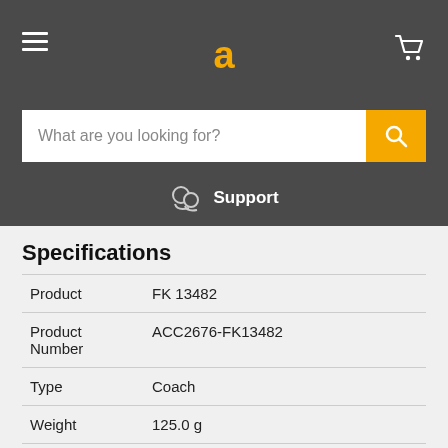accurascale header with hamburger menu, logo (a), and cart icon
What are you looking for?
Support
Specifications
|  |  |
| --- | --- |
| Product | FK 13482 |
| Product Number | ACC2676-FK13482 |
| Type | Coach |
| Weight | 125.0 g |
accurascale is very proud to reveal the latest addition to its well received range of rolling stock, the Mk.2b series of coaches, one of several 'missing link' sub classes that has never been produced in